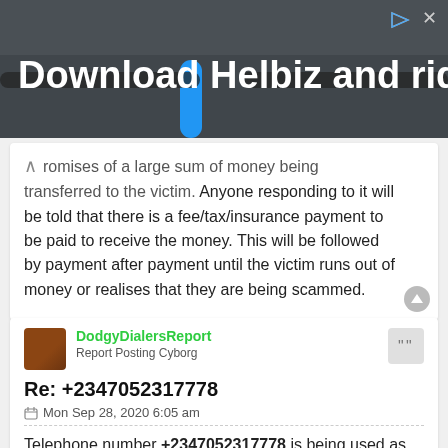[Figure (photo): Advertisement banner for Helbiz app showing bicycle handlebars, with text 'Download Helbiz and ride' in white bold font, and ad control icons top right.]
romises of a large sum of money being transferred to the victim. Anyone responding to it will be told that there is a fee/tax/insurance payment to be paid to receive the money. This will be followed by payment after payment until the victim runs out of money or realises that they are being scammed.
DodgyDialersReport
Report Posting Cyborg
Re: +2347052317778
Mon Sep 28, 2020 6:05 am
Telephone number +2347052317778 is being used as part of an Advance Fee Fraud Scam by someone claiming to be "Johnson Duke" and using the email address adbgbank01oo1234@gmail.com. The telephone number is included in the following Advance Fee Fraud email that is being